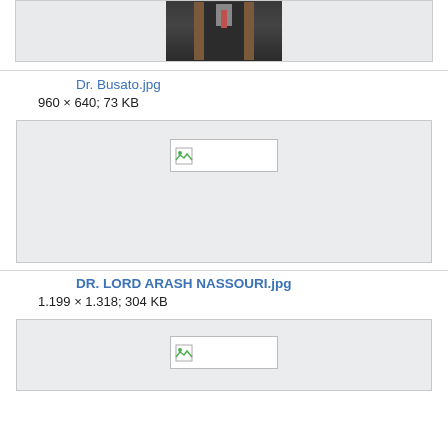[Figure (photo): Partial view of a man in a suit with bookshelves in background (Dr. Busato photo, cropped top)]
Dr. Busato.jpg
960 × 640; 73 KB
[Figure (photo): Broken image placeholder for DR. LORD ARASH NASSOURI.jpg]
DR. LORD ARASH NASSOURI.jpg
1.199 × 1.318; 304 KB
[Figure (photo): Broken image placeholder for third image]